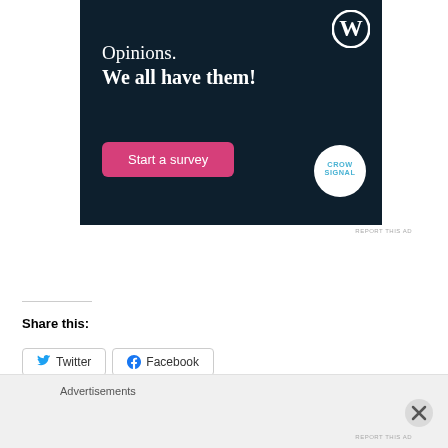[Figure (infographic): WordPress/Crowdsignal advertisement banner with dark navy background. Shows text 'Opinions. We all have them!' with a pink 'Start a survey' button and the Crowdsignal circular logo. WordPress logo in top right corner.]
REPORT THIS AD
Share this:
Twitter
Facebook
Advertisements
REPORT THIS AD